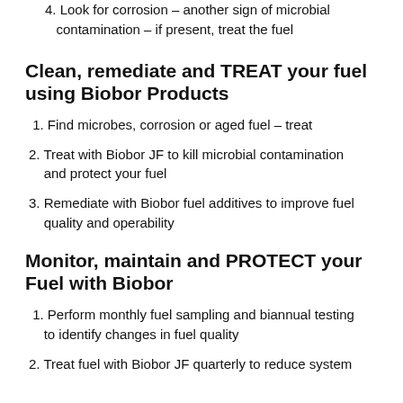4. Look for corrosion – another sign of microbial contamination – if present, treat the fuel
Clean, remediate and TREAT your fuel using Biobor Products
1. Find microbes, corrosion or aged fuel – treat
2. Treat with Biobor JF to kill microbial contamination and protect your fuel
3. Remediate with Biobor fuel additives to improve fuel quality and operability
Monitor, maintain and PROTECT your Fuel with Biobor
1. Perform monthly fuel sampling and biannual testing to identify changes in fuel quality
2. Treat fuel with Biobor JF quarterly to reduce system